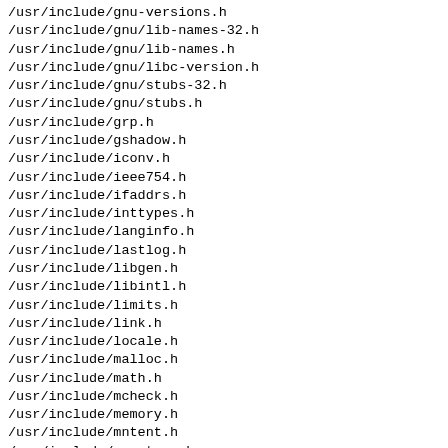/usr/include/gnu-versions.h
/usr/include/gnu/lib-names-32.h
/usr/include/gnu/lib-names.h
/usr/include/gnu/libc-version.h
/usr/include/gnu/stubs-32.h
/usr/include/gnu/stubs.h
/usr/include/grp.h
/usr/include/gshadow.h
/usr/include/iconv.h
/usr/include/ieee754.h
/usr/include/ifaddrs.h
/usr/include/inttypes.h
/usr/include/langinfo.h
/usr/include/lastlog.h
/usr/include/libgen.h
/usr/include/libintl.h
/usr/include/limits.h
/usr/include/link.h
/usr/include/locale.h
/usr/include/malloc.h
/usr/include/math.h
/usr/include/mcheck.h
/usr/include/memory.h
/usr/include/mntent.h
/usr/include/monetary.h
/usr/include/mqueue.h
/usr/include/net/ethernet.h
/usr/include/net/if.h
/usr/include/net/if_arp.h
/usr/include/net/if_packet.h